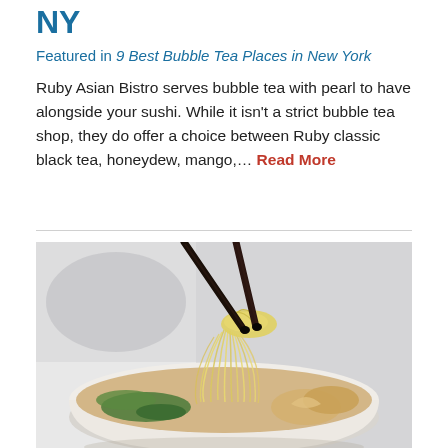NY
Featured in 9 Best Bubble Tea Places in New York
Ruby Asian Bistro serves bubble tea with pearl to have alongside your sushi. While it isn't a strict bubble tea shop, they do offer a choice between Ruby classic black tea, honeydew, mango,… Read More
[Figure (photo): A bowl of noodle soup with chopsticks lifting noodles, garnished with greens and dumplings in broth, photographed on a white background.]